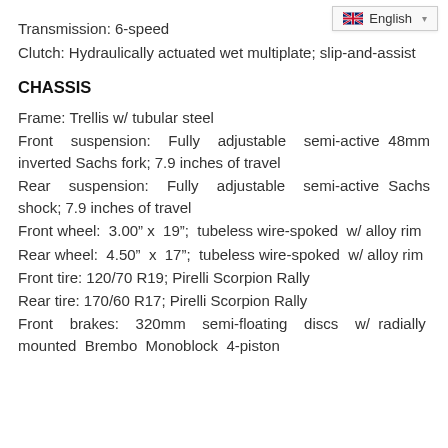Transmission: 6-speed
Clutch: Hydraulically actuated wet multiplate; slip-and-assist
CHASSIS
Frame: Trellis w/ tubular steel
Front suspension: Fully adjustable semi-active 48mm inverted Sachs fork; 7.9 inches of travel
Rear suspension: Fully adjustable semi-active Sachs shock; 7.9 inches of travel
Front wheel: 3.00" x 19"; tubeless wire-spoked w/ alloy rim
Rear wheel: 4.50" x 17"; tubeless wire-spoked w/ alloy rim
Front tire: 120/70 R19; Pirelli Scorpion Rally
Rear tire: 170/60 R17; Pirelli Scorpion Rally
Front brakes: 320mm semi-floating discs w/ radially mounted Brembo Monoblock 4-piston